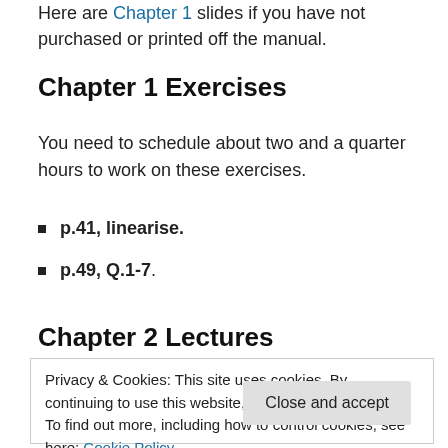Here are Chapter 1 slides if you have not purchased or printed off the manual.
Chapter 1 Exercises
You need to schedule about two and a quarter hours to work on these exercises.
p.41, linearise.
p.49, Q.1-7.
Chapter 2 Lectures
Privacy & Cookies: This site uses cookies. By continuing to use this website, you agree to their use.
To find out more, including how to control cookies, see here: Cookie Policy
Close and accept
Beams: Intro and Calculus Review (23 minutes)